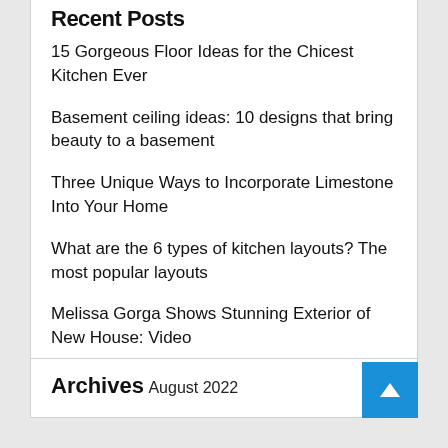Recent Posts
15 Gorgeous Floor Ideas for the Chicest Kitchen Ever
Basement ceiling ideas: 10 designs that bring beauty to a basement
Three Unique Ways to Incorporate Limestone Into Your Home
What are the 6 types of kitchen layouts? The most popular layouts
Melissa Gorga Shows Stunning Exterior of New House: Video
Archives
August 2022